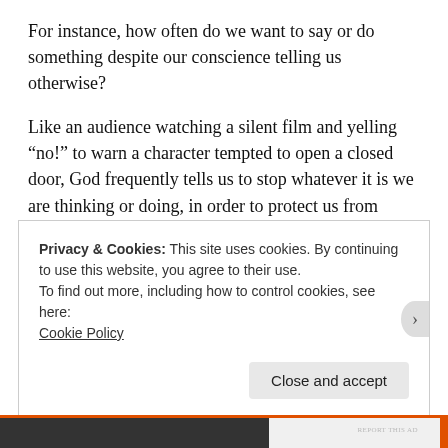For instance, how often do we want to say or do something despite our conscience telling us otherwise?
Like an audience watching a silent film and yelling “no!” to warn a character tempted to open a closed door, God frequently tells us to stop whatever it is we are thinking or doing, in order to protect us from further harm.
Privacy & Cookies: This site uses cookies. By continuing to use this website, you agree to their use.
To find out more, including how to control cookies, see here: Cookie Policy
Close and accept